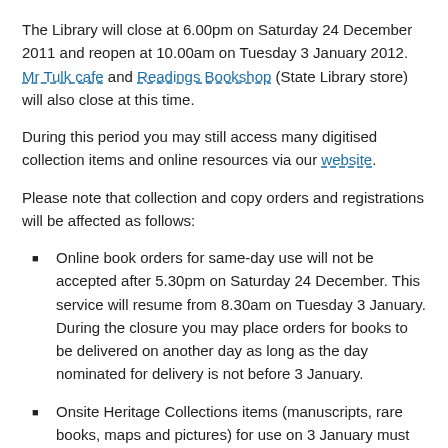The Library will close at 6.00pm on Saturday 24 December 2011 and reopen at 10.00am on Tuesday 3 January 2012. Mr Tulk cafe and Readings Bookshop (State Library store) will also close at this time.
During this period you may still access many digitised collection items and online resources via our website.
Please note that collection and copy orders and registrations will be affected as follows:
Online book orders for same-day use will not be accepted after 5.30pm on Saturday 24 December. This service will resume from 8.30am on Tuesday 3 January. During the closure you may place orders for books to be delivered on another day as long as the day nominated for delivery is not before 3 January.
Onsite Heritage Collections items (manuscripts, rare books, maps and pictures) for use on 3 January must be ordered by 3pm Friday 23 December.
Requests for Library registration and online copy orders received during the closure will be processed from Tuesday 3